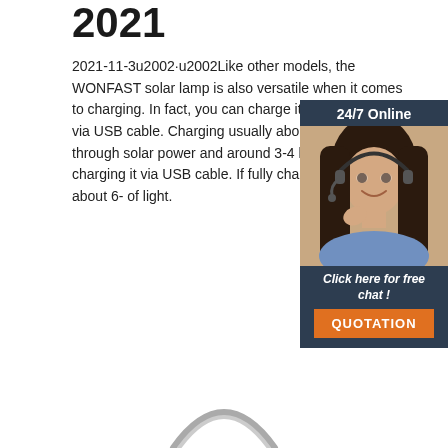2021
2021-11-3u2002·u2002Like other models, the WONFAST solar lamp is also versatile when it comes to charging. In fact, you can charge it via sunlight or via USB cable. Charging usually about 10 hours if through solar power and around 3-4 hours when charging it via USB cable. If fully charged, it provides about 6- of light.
Get Price
[Figure (photo): Chat widget showing a woman with a headset and text '24/7 Online', 'Click here for free chat!', and 'QUOTATION' button]
[Figure (photo): Partial view of a solar lamp at the bottom of the page]